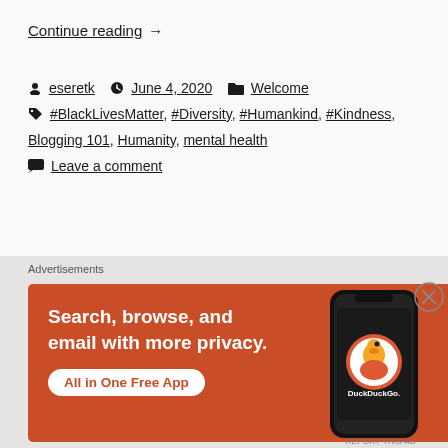Continue reading  →
eseretk  June 4, 2020  Welcome  #BlackLivesMatter, #Diversity, #Humankind, #Kindness, Blogging 101, Humanity, mental health  Leave a comment
Taking Notes &
[Figure (screenshot): DuckDuckGo advertisement banner with orange background showing text 'Search, browse, and email with more privacy. All in One Free App' with a phone image and DuckDuckGo logo/branding]